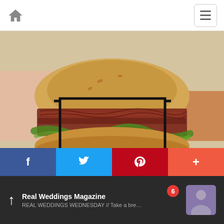Home navigation and menu button
[Figure (photo): Photo of a large deli sandwich with roast beef, lettuce, and toppings on a roll. Overlaid with a decorative frame and large text 'FOODIE FIND'.]
Fisher's Sandwich Shop
Jul 25, 2019 04:02PM
There are always places to grab a sandwich, but when you find that perfect deli with outstanding customer
[Figure (infographic): Social share bar with Facebook, Twitter, Pinterest, and more (+) buttons]
Real Weddings Magazine
REAL WEDDINGS WEDNESDAY // Take a break from wedding planning a...